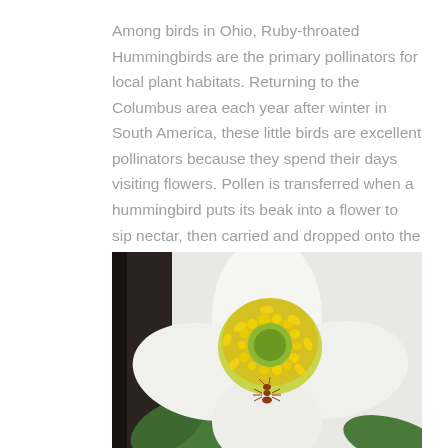Among birds in Ohio, Ruby-throated Hummingbirds are the primary pollinators for local plant habitats. Returning to the Columbus area each year after winter in South America, these little birds are excellent pollinators because they spend their days visiting flowers. Pollen is transferred when a hummingbird puts its beak into a flower to sip nectar, then carried and dropped onto the next flower it visits.
[Figure (photo): Close-up macro photograph of a white flower with yellow stamens and a green center. A small red ant is visible on the white petals near the center. Green leaves are partially visible at the edges.]